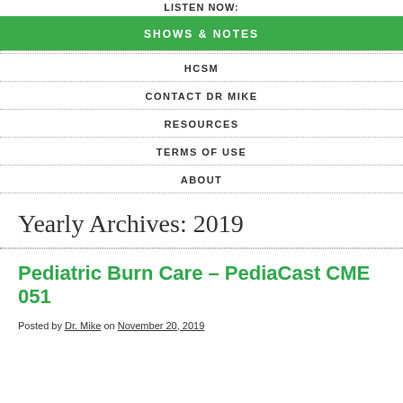LISTEN NOW:
SHOWS & NOTES
HCSM
CONTACT DR MIKE
RESOURCES
TERMS OF USE
ABOUT
Yearly Archives: 2019
Pediatric Burn Care – PediaCast CME 051
Posted by Dr. Mike on November 20, 2019